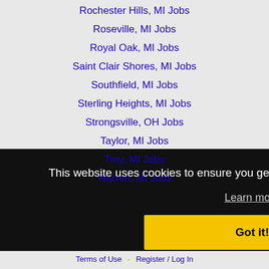Rochester Hills, MI Jobs
Roseville, MI Jobs
Royal Oak, MI Jobs
Saint Clair Shores, MI Jobs
Southfield, MI Jobs
Sterling Heights, MI Jobs
Strongsville, OH Jobs
Taylor, MI Jobs
Troy, MI Jobs
Warren, MI Jobs
This website uses cookies to ensure you get the best experience on our website.
Learn more
Got it!
Terms of Use   Register / Log In